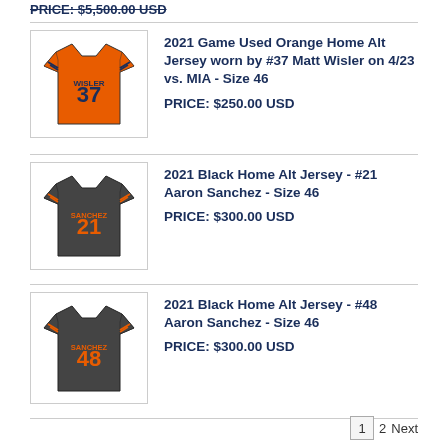PRICE: $5,500.00 USD
[Figure (photo): Orange baseball jersey #37 WISLER]
2021 Game Used Orange Home Alt Jersey worn by #37 Matt Wisler on 4/23 vs. MIA - Size 46
PRICE: $250.00 USD
[Figure (photo): Black baseball jersey #21 SANCHEZ]
2021 Black Home Alt Jersey - #21 Aaron Sanchez - Size 46
PRICE: $300.00 USD
[Figure (photo): Black baseball jersey #48 SANCHEZ]
2021 Black Home Alt Jersey - #48 Aaron Sanchez - Size 46
PRICE: $300.00 USD
1  2  Next